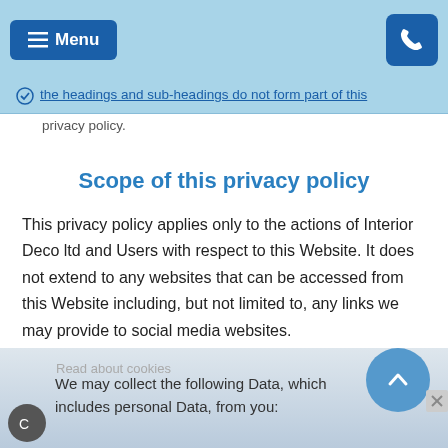Menu [navigation bar]
the headings and sub-headings do not form part of this privacy policy.
Scope of this privacy policy
This privacy policy applies only to the actions of Interior Deco ltd and Users with respect to this Website. It does not extend to any websites that can be accessed from this Website including, but not limited to, any links we may provide to social media websites.
Data collected
We may collect the following Data, which includes personal Data, from you: